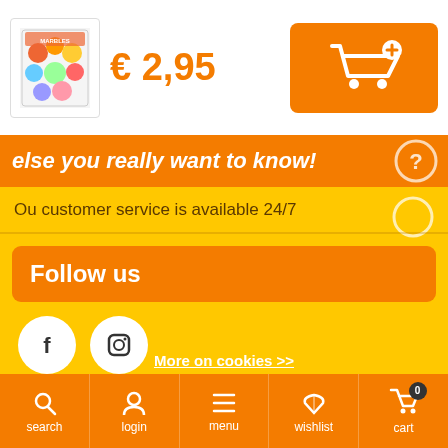[Figure (screenshot): Product thumbnail showing colorful toy balls in a package]
€ 2,95
[Figure (other): Orange add to cart button with shopping cart and plus icon]
else you really want to know!
Ou customer service is available 24/7
Follow us
[Figure (other): Facebook and Instagram social media icons in white circles on yellow background]
More information
Customer service
By using our website, you agree to the usage of cookies to help us make this website better.
Hide this message
More on cookies >>
search   login   menu   wishlist   cart